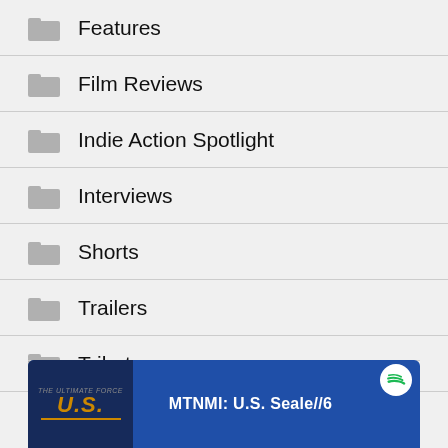Features
Film Reviews
Indie Action Spotlight
Interviews
Shorts
Trailers
Tributes
[Figure (screenshot): Spotify podcast banner showing U.S. movie title graphic on blue background with text 'MTNMI: U.S. Seale//6']